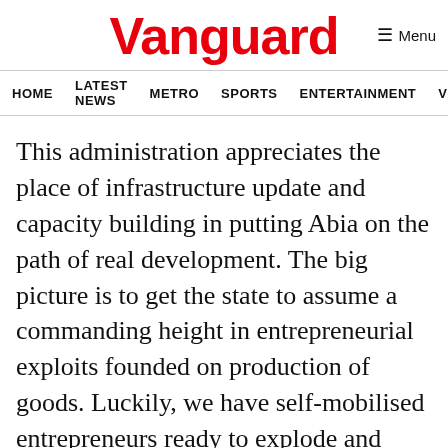Vanguard
HOME  LATEST NEWS  METRO  SPORTS  ENTERTAINMENT  VIDEOS
This administration appreciates the place of infrastructure update and capacity building in putting Abia on the path of real development. The big picture is to get the state to assume a commanding height in entrepreneurial exploits founded on production of goods. Luckily, we have self-mobilised entrepreneurs ready to explode and excel.
We are in a hurry to support the private sector operators to fully express themselves and realise